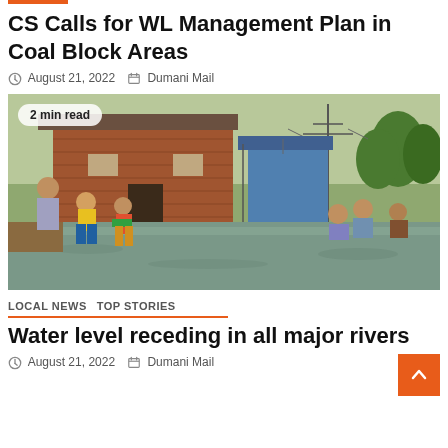CS Calls for WL Management Plan in Coal Block Areas
August 21, 2022   Dumani Mail
[Figure (photo): Flood scene showing children and adults wading through floodwater near brick houses. A badge reads '2 min read'.]
LOCAL NEWS   TOP STORIES
Water level receding in all major rivers
August 21, 2022   Dumani Mail